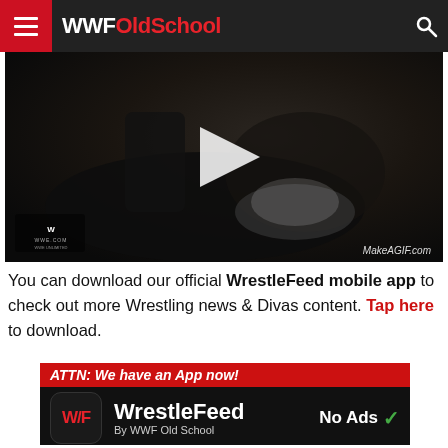WWFOldSchool
[Figure (screenshot): Video thumbnail showing a dark scene with a white play button in the center. WWE.COM watermark in bottom-left and MakeAGIF.com watermark in bottom-right.]
You can download our official WrestleFeed mobile app to check out more Wrestling news & Divas content. Tap here to download.
[Figure (infographic): App advertisement banner with red header reading 'ATTN: We have an App now!', showing WrestleFeed app icon (W/F), app name 'WrestleFeed By WWF Old School', and 'No Ads' with green checkmark.]